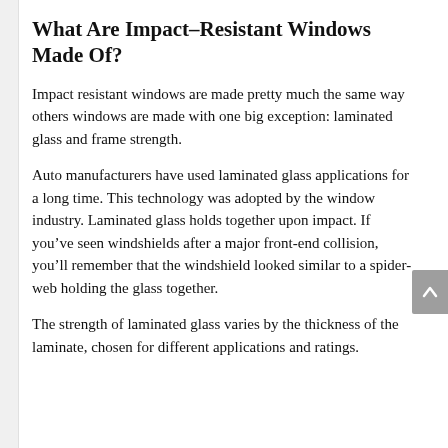What Are Impact-Resistant Windows Made Of?
Impact resistant windows are made pretty much the same way others windows are made with one big exception: laminated glass and frame strength.
Auto manufacturers have used laminated glass applications for a long time. This technology was adopted by the window industry. Laminated glass holds together upon impact. If you’ve seen windshields after a major front-end collision, you’ll remember that the windshield looked similar to a spider-web holding the glass together.
The strength of laminated glass varies by the thickness of the laminate, chosen for different applications and ratings.